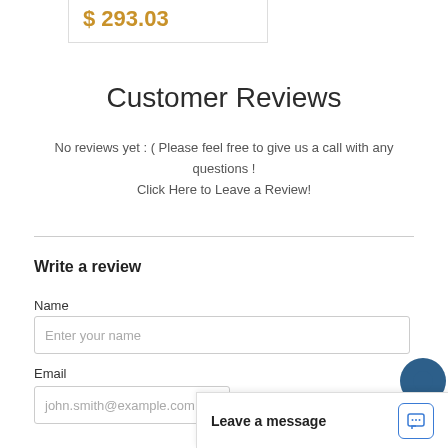$ 293.03
Customer Reviews
No reviews yet : ( Please feel free to give us a call with any questions !
Click Here to Leave a Review!
Write a review
Name
Enter your name
Email
john.smith@example.com
Leave a message